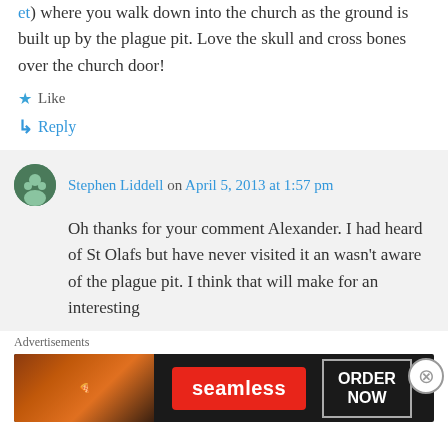et) where you walk down into the church as the ground is built up by the plague pit. Love the skull and cross bones over the church door!
★ Like
↳ Reply
Stephen Liddell on April 5, 2013 at 1:57 pm
Oh thanks for your comment Alexander. I had heard of St Olafs but have never visited it an wasn't aware of the plague pit. I think that will make for an interesting
Advertisements
[Figure (other): Seamless food delivery advertisement banner showing pizza image on left, red Seamless logo in center, and ORDER NOW button on right, on dark background]